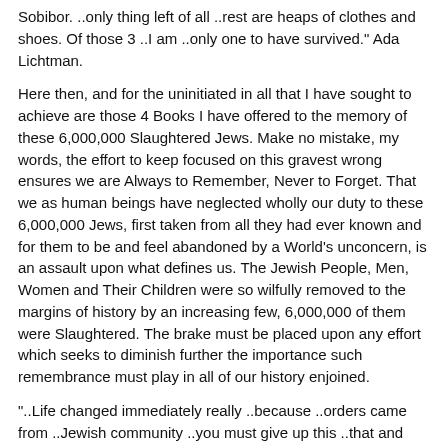Sobibor. ..only thing left of all ..rest are heaps of clothes and shoes. Of those 3 ..I am ..only one to have survived." Ada Lichtman.
Here then, and for the uninitiated in all that I have sought to achieve are those 4 Books I have offered to the memory of these 6,000,000 Slaughtered Jews. Make no mistake, my words, the effort to keep focused on this gravest wrong ensures we are Always to Remember, Never to Forget. That we as human beings have neglected wholly our duty to these 6,000,000 Jews, first taken from all they had ever known and for them to be and feel abandoned by a World’s unconcern, is an assault upon what defines us. The Jewish People, Men, Women and Their Children were so wilfully removed to the margins of history by an increasing few, 6,000,000 of them were Slaughtered. The brake must be placed upon any effort which seeks to diminish further the importance such remembrance must play in all of our history enjoined.
“..Life changed immediately really ..because ..orders came from ..Jewish community ..you must give up this ..that and ..other. And so one slowly had to give up one’s comforts.” Lily Fischl.
For my own books, and I leave them to those who choose to read from them, for they will know I have chosen to remember the Jewish People. In that, I see the Slaughter of the Jews as an unmitigated failure of the Western powers to save them. As the Jews were abandoned on a graduating scale, the need for justice ran in an opposing gradient. This growing awareness of what was approaching the Jews, and by a World